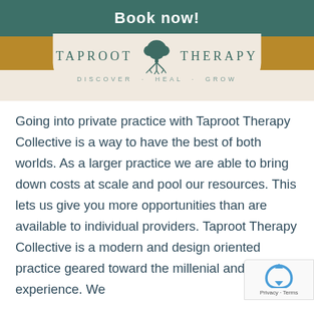Book now!
[Figure (logo): Taproot Therapy logo with tree illustration and tagline 'Discover · Heal · Grow']
Going into private practice with Taproot Therapy Collective is a way to have the best of both worlds. As a larger practice we are able to bring down costs at scale and pool our resources. This lets us give you more opportunities than are available to individual providers. Taproot Therapy Collective is a modern and design oriented practice geared toward the millenial and gen-z experience. We